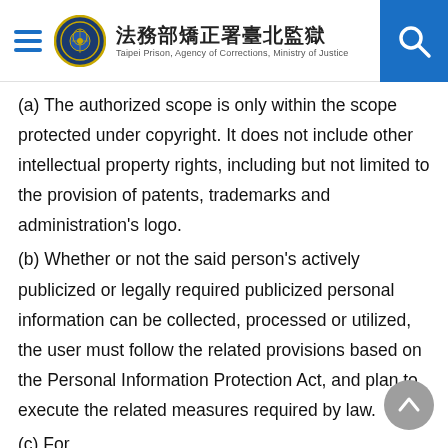法務部矯正署臺北監獄 Taipei Prison, Agency of Corrections, Ministry of Justice
(a) The authorized scope is only within the scope protected under copyright. It does not include other intellectual property rights, including but not limited to the provision of patents, trademarks and administration's logo.
(b) Whether or not the said person's actively publicized or legally required publicized personal information can be collected, processed or utilized, the user must follow the related provisions based on the Personal Information Protection Act, and plan to execute the related measures required by law.
(c) For...